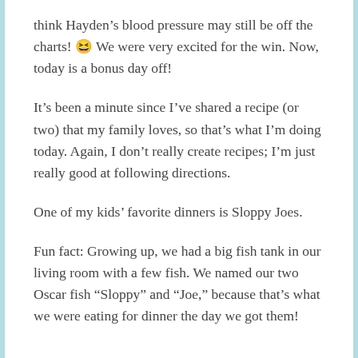think Hayden’s blood pressure may still be off the charts! 😆 We were very excited for the win. Now, today is a bonus day off!
It’s been a minute since I’ve shared a recipe (or two) that my family loves, so that’s what I’m doing today. Again, I don’t really create recipes; I’m just really good at following directions.
One of my kids’ favorite dinners is Sloppy Joes.
Fun fact: Growing up, we had a big fish tank in our living room with a few fish. We named our two Oscar fish “Sloppy” and “Joe,” because that’s what we were eating for dinner the day we got them!